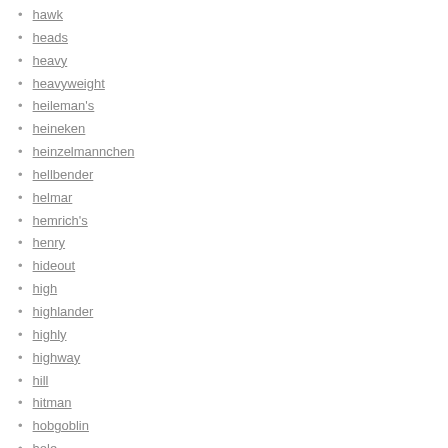hawk
heads
heavy
heavyweight
heileman's
heineken
heinzelmannchen
hellbender
helmar
hemrich's
henry
hideout
high
highlander
highly
highway
hill
hitman
hobgoblin
hole